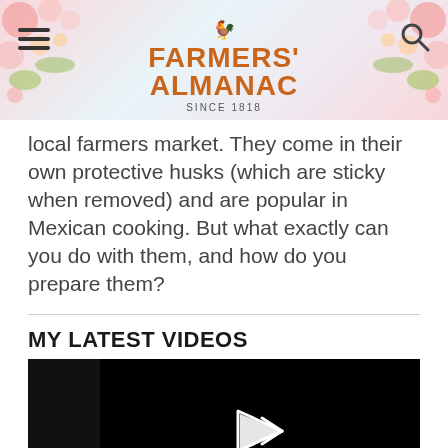[Figure (screenshot): Farmers' Almanac website header with floral background, hamburger menu on left, search icon on right, and the Farmers' Almanac logo with rooster and 'SINCE 1818' text in the center]
local farmers market. They come in their own protective husks (which are sticky when removed) and are popular in Mexican cooking. But what exactly can you do with them, and how do you prepare them?
MY LATEST VIDEOS
[Figure (screenshot): Embedded video player showing a black screen with a play button icon and the error message 'The video cannot be played in this browser. (Error Code: 242632)']